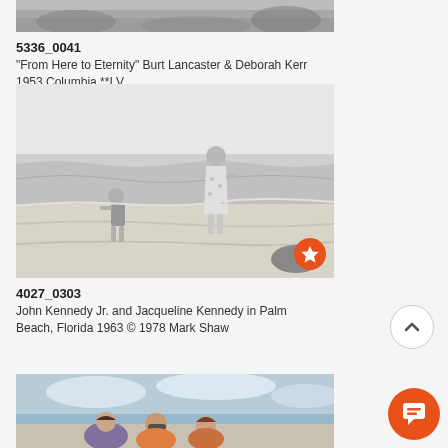[Figure (photo): Top portion of a black and white photo partially visible at the top of the page, appears to be a beach/ocean scene similar to From Here to Eternity]
5336_0041
"From Here to Eternity" Burt Lancaster & Deborah Kerr 1953 Columbia **I.V.
[Figure (photo): Black and white photograph of John Kennedy Jr. and Jacqueline Kennedy walking on a beach in Palm Beach, Florida 1963. A toddler and a woman in a dress near the ocean shoreline.]
4027_0303
John Kennedy Jr. and Jacqueline Kennedy in Palm Beach, Florida 1963 © 1978 Mark Shaw
[Figure (photo): Color photograph partially visible at bottom showing people at a beach with sky and ocean in background]